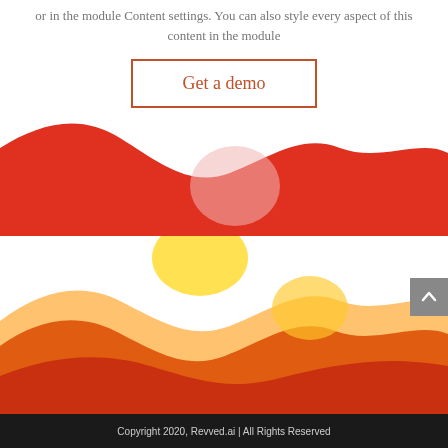or in the module Content settings. You can also style every aspect of this content in the module
Get a demo
[Figure (illustration): Decorative wave illustration with overlapping red and light pink/rose area waves on a white background]
[Figure (illustration): Decorative wave illustration with overlapping orange, yellow, and amber area waves on a white background]
Copyright 2020, Revved.ai | All Rights Reserved